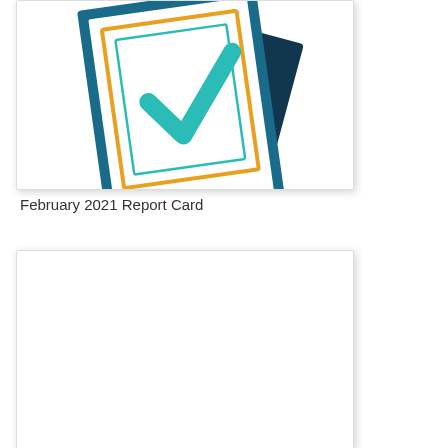[Figure (illustration): Illustration of a report card / checklist document with a teal checkmark on a white clipboard-style page, overlapping a dark navy blue document. An orange border frames the white page with the checkmark. The image is contained in a white card with a light drop shadow.]
February 2021 Report Card
[Figure (other): A blank white card/panel with light border and drop shadow, presumably a placeholder for another report card image.]